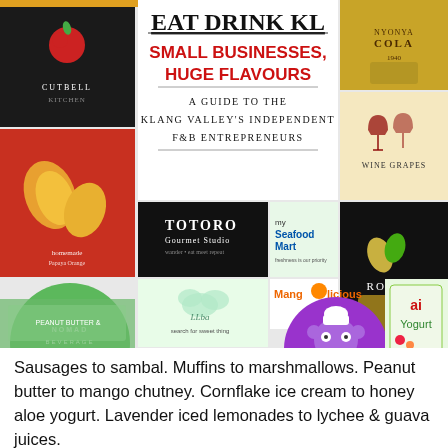[Figure (infographic): Collage of logos and brand images for Eat Drink KL: Small Businesses, Huge Flavours guide. Includes logos for Cutbell Kitchen, Nyonya Cola, Wine Grapes, Roleaf, Totoro Gourmet Studio, mySeafoodMart, Mangolicious, Nomad Beverage, Hot Shots Coffee & Tea, Bubble Monkey, ai Yogurt, Peanut Butter brand, Chik Chik Brownies, and others. Center text reads 'EAT DRINK KL / SMALL BUSINESSES, HUGE FLAVOURS / A GUIDE TO THE KLANG VALLEY'S INDEPENDENT F&B ENTREPRENEURS'.]
Sausages to sambal. Muffins to marshmallows. Peanut butter to mango chutney. Cornflake ice cream to honey aloe yogurt. Lavender iced lemonades to lychee & guava juices.